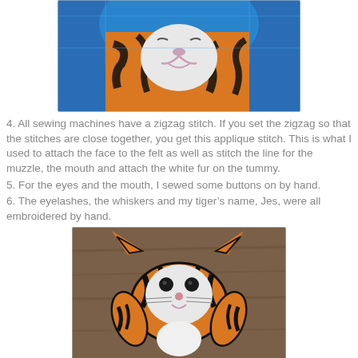[Figure (photo): Close-up photo of a stuffed tiger toy's face showing orange and black striped fabric with a white muzzle area, on a blue background]
4. All sewing machines have a zigzag stitch. If you set the zigzag so that the stitches are close together, you get this applique stitch. This is what I used to attach the face to the felt as well as stitch the line for the muzzle, the mouth and attach the white fur on the tummy.
5. For the eyes and the mouth, I sewed some buttons on by hand.
6. The eyelashes, the whiskers and my tiger's name, Jes, were all embroidered by hand.
[Figure (photo): Photo of a finished stuffed tiger toy laying flat, showing orange and black striped fabric with a white face featuring button eyes, whiskers, and a white tummy area, with arms and legs spread out]